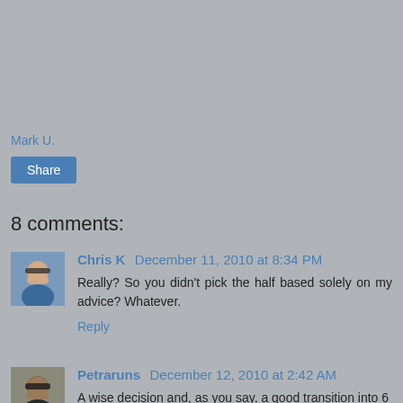Mark U.
Share
8 comments:
Chris K December 11, 2010 at 8:34 PM
Really? So you didn't pick the half based solely on my advice? Whatever.
Reply
[Figure (photo): Avatar photo of Chris K commenter]
Petraruns December 12, 2010 at 2:42 AM
A wise decision and, as you say, a good transition into 6
[Figure (photo): Avatar photo of Petraruns commenter]